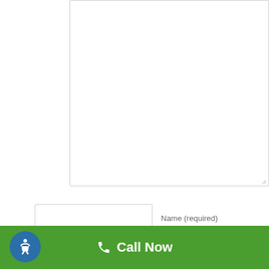[Figure (screenshot): Large textarea input box at top of page, with resize handle at bottom-right corner]
Name (required)
Email (will not be published) (required)
Website
SUBMIT COMMENT
[Figure (illustration): Accessibility icon - circular blue button with person figure]
Call Now